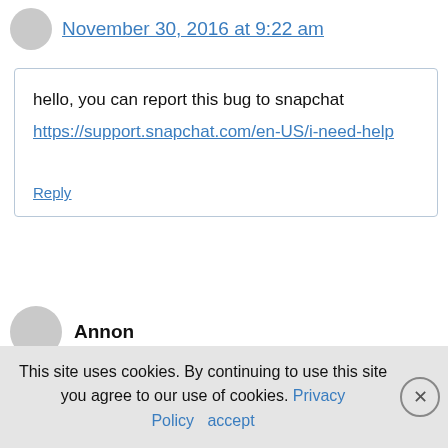November 30, 2016 at 9:22 am
hello, you can report this bug to snapchat https://support.snapchat.com/en-US/i-need-help
Reply
Annon
This site uses cookies. By continuing to use this site you agree to our use of cookies. Privacy Policy  accept